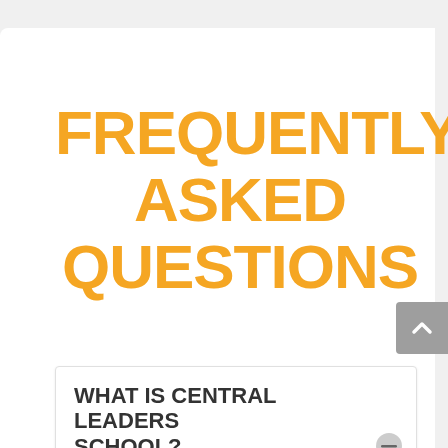FREQUENTLY ASKED QUESTIONS
WHAT IS CENTRAL LEADERS SCHOOL?